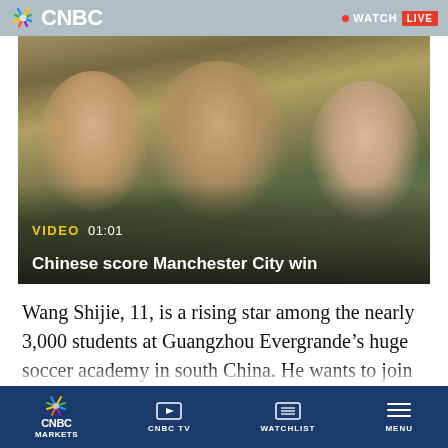CNBC | WATCH LIVE
[Figure (screenshot): Video thumbnail showing three people taking a selfie at what appears to be a sports venue. Labeled VIDEO 01:01. Title: Chinese score Manchester City win]
VIDEO 01:01 Chinese score Manchester City win
Wang Shijie, 11, is a rising star among the nearly 3,000 students at Guangzhou Evergrande’s huge soccer academy in south China. He wants to join the national team and help achieve President Xi Jinping’s dream of winning the World Cup.
CNBC MARKETS | CNBC TV | WATCHLIST | MENU